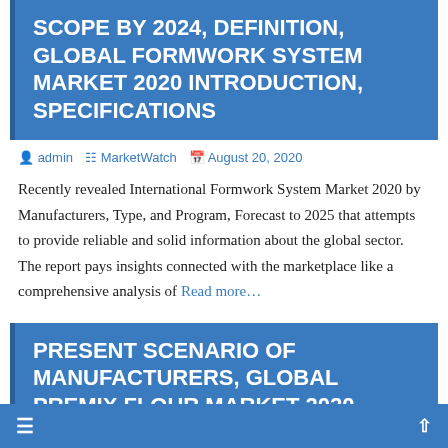SCOPE BY 2024, DEFINITION, GLOBAL FORMWORK SYSTEM MARKET 2020 INTRODUCTION, SPECIFICATIONS
admin  MarketWatch  August 20, 2020
Recently revealed International Formwork System Market 2020 by Manufacturers, Type, and Program, Forecast to 2025 that attempts to provide reliable and solid information about the global sector. The report pays insights connected with the marketplace like a comprehensive analysis of Read more…
PRESENT SCENARIO OF MANUFACTURERS, GLOBAL PREMIX FLOUR MARKET 2020 INDUSTRY OUTLOOK, SHARE,